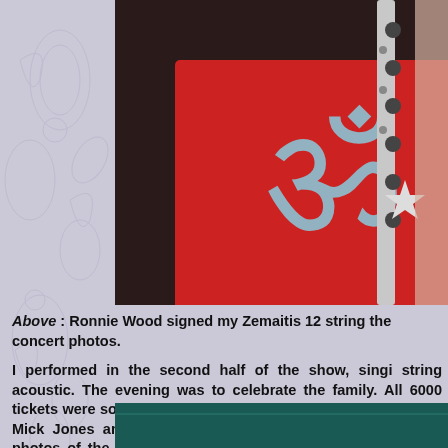[Figure (photo): Close-up photo of a red shirt/clothing with a light blue logo and a guitar neck with tuning pegs visible on the right side]
Above : Ronnie Wood signed my Zemaitis 12 string the concert photos.
I performed in the second half of the show, singing string acoustic. The evening was to celebrate the family. All 6000 tickets were sold. The event was shared a dressing room with Mick Jones and Glen back stage. Francine took lots of photos of the da tribute to the late great Ronnie Lane. The after sho the early hours of the morning. Francine and I do sparkling water. Prior to the concert rehearsals w studios near Tower Bridge in London. The BBC documentary on Ronnie Lane.
[Figure (photo): Partial view of another photo at the bottom of the page, showing what appears to be a teal/green background]